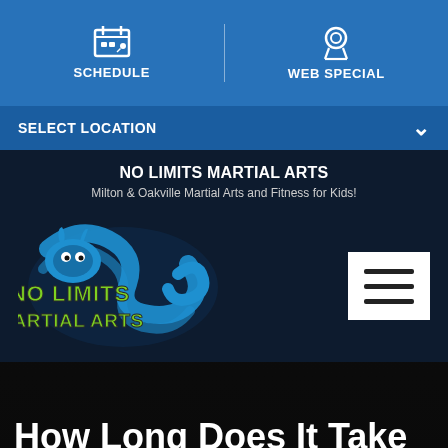[Figure (screenshot): Navigation bar with SCHEDULE and WEB SPECIAL icons on blue background]
[Figure (screenshot): SELECT LOCATION dropdown bar in darker blue]
NO LIMITS MARTIAL ARTS
Milton & Oakville Martial Arts and Fitness for Kids!
[Figure (logo): No Limits Martial Arts logo - blue dragon with green and white text]
How Long Does It Take To Get a Black Belt?